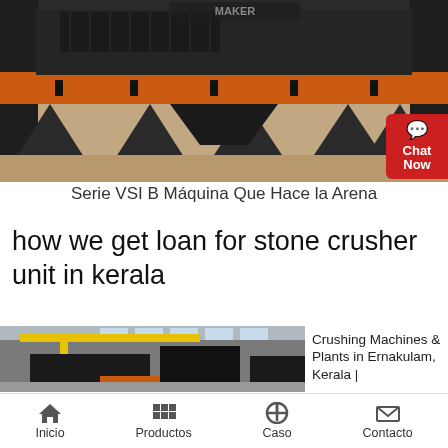[Figure (photo): Industrial VSI sand making machine with orange frame and dark metal components on a factory floor, front view]
Serie VSI B Máquina Que Hace la Arena
how we get loan for stone crusher unit in kerala
[Figure (photo): Crushing machine inside a factory warehouse with yellow crane and large black industrial equipment]
Crushing Machines & Plants in Ernakulam, Kerala |
Inicio  Productos  Caso  Contacto